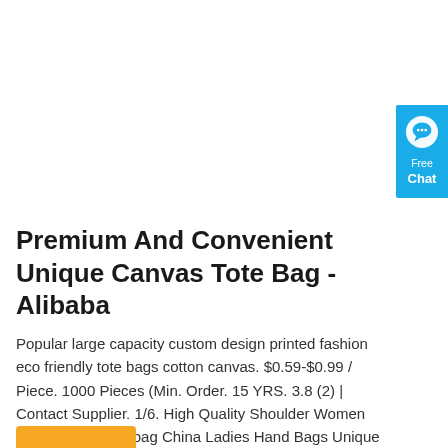[Figure (other): Blue 'Free Chat' widget button on the right side of the page with a speech bubble icon]
Premium And Convenient Unique Canvas Tote Bag - Alibaba
Popular large capacity custom design printed fashion eco friendly tote bags cotton canvas. $0.59-$0.99 / Piece. 1000 Pieces (Min. Order. 15 YRS. 3.8 (2) | Contact Supplier. 1/6. High Quality Shoulder Women Bucket Bag Handbag China Ladies Hand Bags Unique Private Label Drawstring Canvas Tote Handbags.